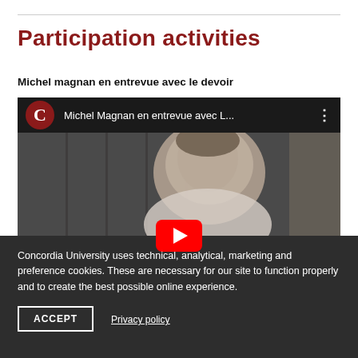Participation activities
Michel magnan en entrevue avec le devoir
[Figure (screenshot): YouTube video player thumbnail showing Michel Magnan en entrevue avec L... with a man's face visible and a red play button overlay. The video player top bar shows a dark red Concordia 'C' logo.]
Concordia University uses technical, analytical, marketing and preference cookies. These are necessary for our site to function properly and to create the best possible online experience.
ACCEPT
Privacy policy